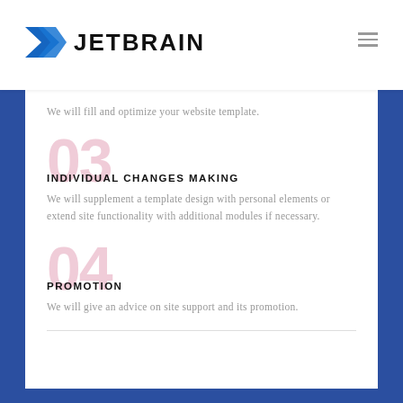JETBRAIN
We will fill and optimize your website template.
03 INDIVIDUAL CHANGES MAKING
We will supplement a template design with personal elements or extend site functionality with additional modules if necessary.
04 PROMOTION
We will give an advice on site support and its promotion.